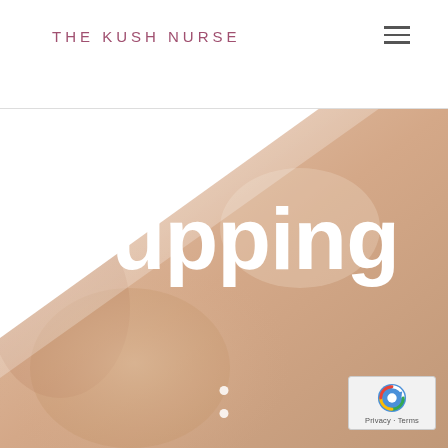THE KUSH NURSE
[Figure (photo): Skin-toned hero background image with diagonal white transition from upper left, warm peach and beige tones suggesting skin or body tissue, blurred background for cupping therapy page]
Cupping
[Figure (other): Two white scroll indicator dots arranged vertically]
[Figure (other): Google reCAPTCHA badge showing logo and Privacy - Terms text]